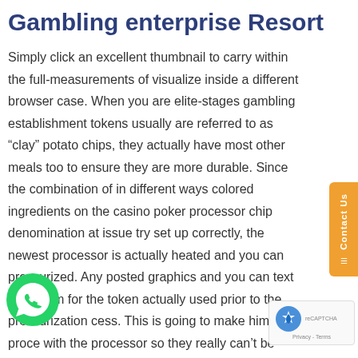Gambling enterprise Resort
Simply click an excellent thumbnail to carry within the full-measurements of visualize inside a different browser case. When you are elite-stages gambling establishment tokens usually are referred to as “clay” potato chips, they actually have most other meals too to ensure they are more durable. Since the combination of in different ways colored ingredients on the casino poker processor chip denomination at issue try set up correctly, the newest processor is actually heated and you can pressurized. Any posted graphics and you can text that seem for the token actually used prior to the pressurization cess. This is going to make him or her proce with the processor so they really can’t be illicitly
[Figure (illustration): WhatsApp icon - green circle with white phone handset]
[Figure (illustration): reCAPTCHA badge with blue logo and Privacy - Terms text]